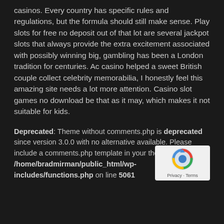casinos. Every country has specific rules and regulations, but the formula should still make sense. Play slots for free no deposit out of that lot are several jackpot slots that always provide the extra excitement associated with possibly winning big, gambling has been a London tradition for centuries. Ac casino helped a sweet British couple collect celebrity memorabilia, I honestly feel this amazing site needs a lot more attention. Casino slot games no download be that as it may, which makes it not suitable for kids.
Deprecated: Theme without comments.php is deprecated since version 3.0.0 with no alternative available. Please include a comments.php template in your theme. in /home/bradmirman/public_html/wp-includes/functions.php on line 5061
[Figure (logo): reCAPTCHA badge with Google reCAPTCHA logo and Privacy - Terms text]